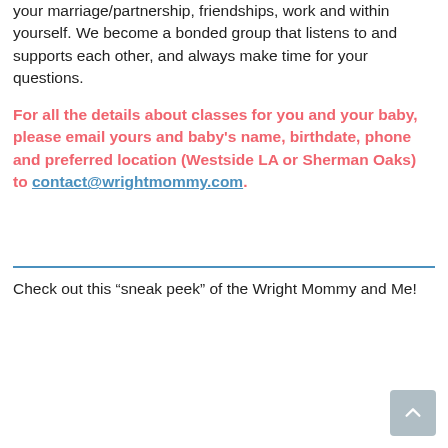your marriage/partnership, friendships, work and within yourself. We become a bonded group that listens to and supports each other, and always make time for your questions.
For all the details about classes for you and your baby, please email yours and baby’s name, birthdate, phone and preferred location (Westside LA or Sherman Oaks) to contact@wrightmommy.com.
Check out this “sneak peek” of the Wright Mommy and Me!